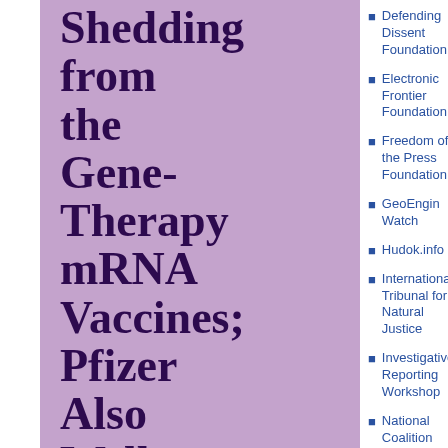Shedding from the Gene-Therapy mRNA Vaccines; Pfizer Also Well-Aware, as Exposed i
Defending Dissent Foundation
Electronic Frontier Foundation
Freedom of the Press Foundation
GeoEngin Watch
Hudok.info
International Tribunal for Natural Justice
Investigative Reporting Workshop
National Coalition